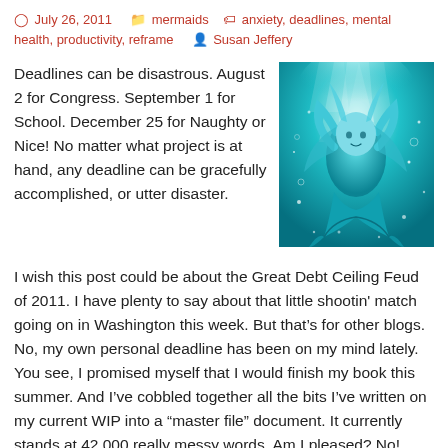July 26, 2011   mermaids   anxiety, deadlines, mental health, productivity, reframe   Susan Jeffery
[Figure (illustration): A fantasy illustration of a mermaid underwater in teal/cyan tones, with flowing hair and tail, surrounded by sparkles and light rays from above.]
Deadlines can be disastrous.  August 2 for Congress.  September 1 for School.  December 25 for Naughty or Nice!  No matter what project is at hand, any deadline can be gracefully accomplished, or utter disaster.
I wish this post could be about the Great Debt Ceiling Feud of 2011.  I have plenty to say about that little shootin' match going on in Washington this week.  But that's for other blogs.  No, my own personal deadline has been on my mind lately.  You see, I promised myself that I would finish my book this summer.  And I've cobbled together all the bits I've written on my current WIP into a “master file” document.  It currently stands at 42,000 really messy words.  Am I pleased?  No!